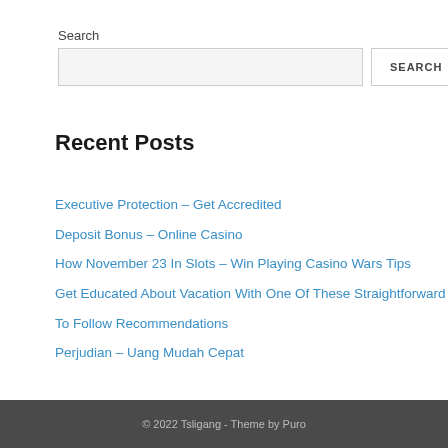Search
Search input and button
Recent Posts
Executive Protection – Get Accredited
Deposit Bonus – Online Casino
How November 23 In Slots – Win Playing Casino Wars Tips
Get Educated About Vacation With One Of These Straightforward To Follow Recommendations
Perjudian – Uang Mudah Cepat
© 2022 Tsligang  -  Theme by Puro